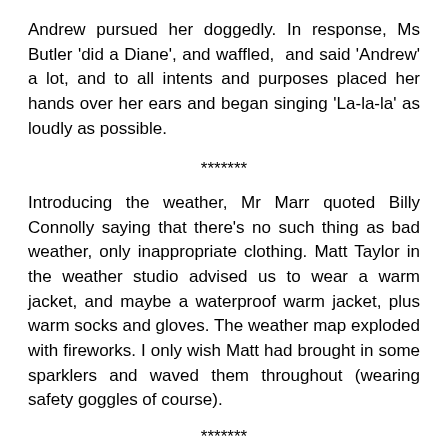Andrew pursued her doggedly. In response, Ms Butler 'did a Diane', and waffled, and said 'Andrew' a lot, and to all intents and purposes placed her hands over her ears and began singing 'La-la-la' as loudly as possible.
*******
Introducing the weather, Mr Marr quoted Billy Connolly saying that there's no such thing as bad weather, only inappropriate clothing. Matt Taylor in the weather studio advised us to wear a warm jacket, and maybe a waterproof warm jacket, plus warm socks and gloves. The weather map exploded with fireworks. I only wish Matt had brought in some sparklers and waved them throughout (wearing safety goggles of course).
*******
[Figure (photo): BBC studio screenshot showing two men in suits seated facing each other, with the London Eye visible in the background through a window. BBC logo bar visible at top.]